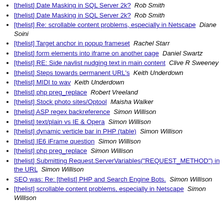[thelist] Date Masking in SQL Server 2k?  Rob Smith
[thelist] Date Masking in SQL Server 2k?  Rob Smith
[thelist] Re: scrollable content problems, especially in Netscape  Diane Soini
[thelist] Target anchor in popup frameset  Rachel Starr
[thelist] form elements into iframe on another page  Daniel Swartz
[thelist] RE: Side navlist nudging text in main content  Clive R Sweeney
[thelist] Steps towards permanent URL's  Keith Underdown
[thelist] MIDI to wav  Keith Underdown
[thelist] php preg_replace  Robert Vreeland
[thelist] Stock photo sites/Optool  Maisha Walker
[thelist] ASP regex backreference  Simon Willison
[thelist] text/plain vs IE & Opera  Simon Willison
[thelist] dynamic verticle bar in PHP (table)  Simon Willison
[thelist] IE6 iFrame question  Simon Willison
[thelist] php preg_replace  Simon Willison
[thelist] Submitting Request.ServerVariables("REQUEST_METHOD") in the URL  Simon Willison
SEO was: Re: [thelist] PHP and Search Engine Bots.  Simon Willison
[thelist] scrollable content problems, especially in Netscape  Simon Willison